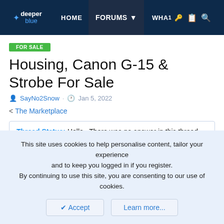deeper blue | HOME | FORUMS | WHAT
Housing, Canon G-15 & Strobe For Sale
SayNo2Snow · Jan 5, 2022
< The Marketplace
Thread Status: Hello , There was no answer in this thread for more than 60 days. It can take a long time to get an up-to-date response or contact with relevant users.
This site uses cookies to help personalise content, tailor your experience and to keep you logged in if you register. By continuing to use this site, you are consenting to our use of cookies.